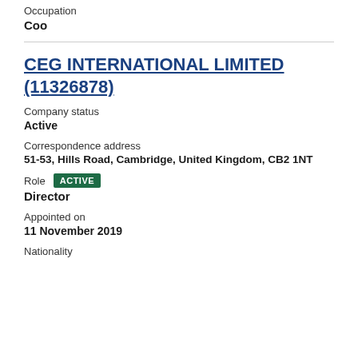Occupation
Coo
CEG INTERNATIONAL LIMITED (11326878)
Company status
Active
Correspondence address
51-53, Hills Road, Cambridge, United Kingdom, CB2 1NT
Role ACTIVE
Director
Appointed on
11 November 2019
Nationality